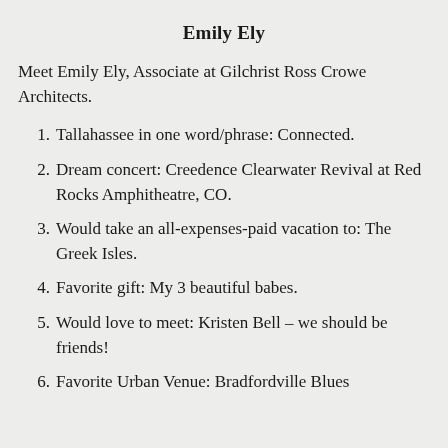Emily Ely
Meet Emily Ely, Associate at Gilchrist Ross Crowe Architects.
1. Tallahassee in one word/phrase: Connected.
2. Dream concert: Creedence Clearwater Revival at Red Rocks Amphitheatre, CO.
3. Would take an all-expenses-paid vacation to: The Greek Isles.
4. Favorite gift: My 3 beautiful babes.
5. Would love to meet: Kristen Bell – we should be friends!
6. Favorite Urban Venue: Bradfordville Blues